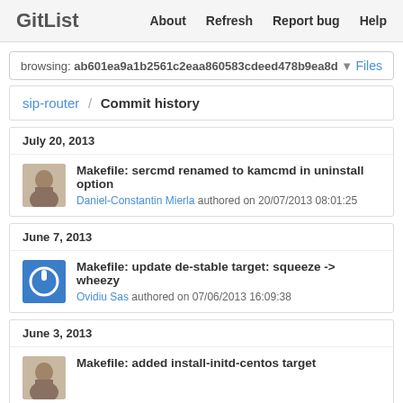GitList  About  Refresh  Report bug  Help
browsing: ab601ea9a1b2561c2eaa860583cdeed478b9ea8d  Files
sip-router / Commit history
July 20, 2013
Makefile: sercmd renamed to kamcmd in uninstall option
Daniel-Constantin Mierla authored on 20/07/2013 08:01:25
June 7, 2013
Makefile: update de-stable target: squeeze -> wheezy
Ovidiu Sas authored on 07/06/2013 16:09:38
June 3, 2013
Makefile: added install-initd-centos target